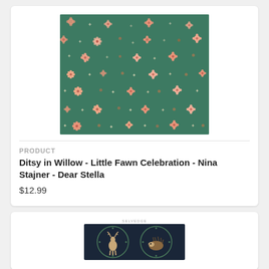[Figure (photo): Green fabric with scattered small pink/salmon daisy flowers and star shapes on a dark teal/green background - Ditsy in Willow pattern]
PRODUCT
Ditsy in Willow - Little Fawn Celebration - Nina Stajner - Dear Stella
$12.99
[Figure (photo): Partial view of a dark navy fabric showing selvedge label at top and two circular medallion designs featuring a fawn/deer and a hedgehog with decorative wreath borders]